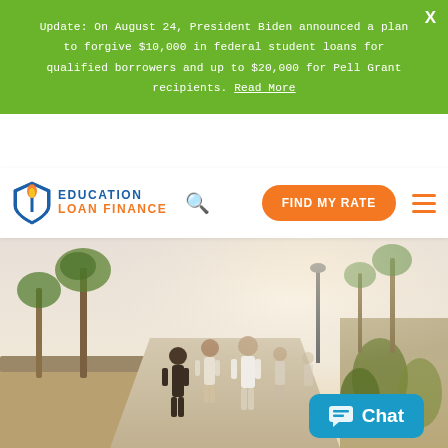Update: On August 24, President Biden announced a plan to forgive $10,000 in federal student loans for qualified borrowers and up to $20,000 for Pell Grant recipients. Read More
[Figure (logo): Education Loan Finance logo with shield icon, torch, and text EDUCATION LOAN FINANCE in blue and orange]
FIND MY RATE
[Figure (photo): Group of people walking on a sunny palm-lined promenade path, warm golden tones, outdoors, backs to camera]
Chat